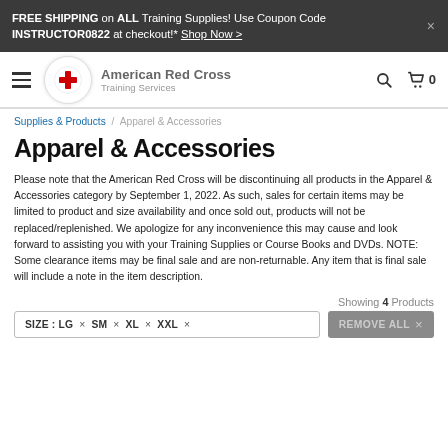FREE SHIPPING on ALL Training Supplies! Use Coupon Code INSTRUCTOR0822 at checkout!* Shop Now >
[Figure (logo): American Red Cross Training Services logo with red cross emblem in circle]
Supplies & Products / Apparel & Accessories
Apparel & Accessories
Please note that the American Red Cross will be discontinuing all products in the Apparel & Accessories category by September 1, 2022. As such, sales for certain items may be limited to product and size availability and once sold out, products will not be replaced/replenished. We apologize for any inconvenience this may cause and look forward to assisting you with your Training Supplies or Course Books and DVDs. NOTE: Some clearance items may be final sale and are non-returnable. Any item that is final sale will include a note in the item description.
Showing 4 Products
SIZE : LG ×  SM ×  XL ×  XXL ×  REMOVE ALL